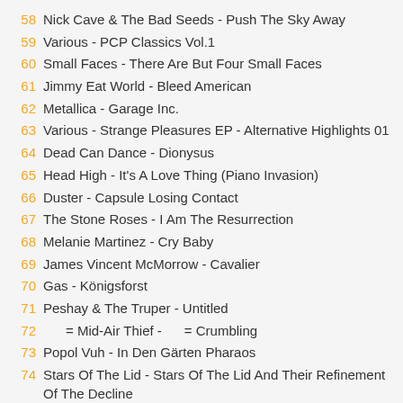58  Nick Cave & The Bad Seeds - Push The Sky Away
59  Various - PCP Classics Vol.1
60  Small Faces - There Are But Four Small Faces
61  Jimmy Eat World - Bleed American
62  Metallica - Garage Inc.
63  Various - Strange Pleasures EP - Alternative Highlights 01
64  Dead Can Dance - Dionysus
65  Head High - It's A Love Thing (Piano Invasion)
66  Duster - Capsule Losing Contact
67  The Stone Roses - I Am The Resurrection
68  Melanie Martinez - Cry Baby
69  James Vincent McMorrow - Cavalier
70  Gas - Königsforst
71  Peshay & The Truper - Untitled
72  = Mid-Air Thief -  = Crumbling
73  Popol Vuh - In Den Gärten Pharaos
74  Stars Of The Lid - Stars Of The Lid And Their Refinement Of The Decline
75  Deftones - Gore